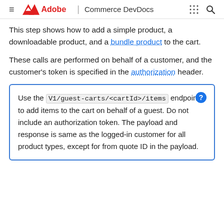≡  Adobe | Commerce DevDocs
This step shows how to add a simple product, a downloadable product, and a bundle product to the cart.
These calls are performed on behalf of a customer, and the customer's token is specified in the authorization header.
Use the V1/guest-carts/<cartId>/items endpoint to add items to the cart on behalf of a guest. Do not include an authorization token. The payload and response is same as the logged-in customer for all product types, except for from quote ID in the payload.